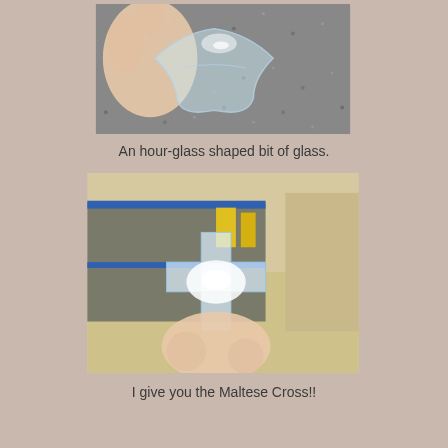[Figure (photo): A hand holding an hour-glass shaped piece of clear glass against a dark granite/speckled surface background.]
An hour-glass shaped bit of glass.
[Figure (photo): Two pieces of transparent clear glass/acrylic forming a cross shape held by a hand, with bright light reflection visible. Lab environment in background with blue trim cabinet and beige floor.]
I give you the Maltese Cross!!